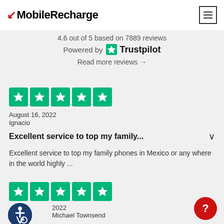MobileRecharge
4.6 out of 5 based on 7889 reviews
Powered by Trustpilot
Read more reviews →
[Figure (other): Five green Trustpilot star rating boxes]
August 16, 2022
Ignacio
Excellent service to top my family...
Excellent service to top my family phones in Mexico or any where in the world highly ...
[Figure (other): Five green Trustpilot star rating boxes]
2022
Michael Townsend